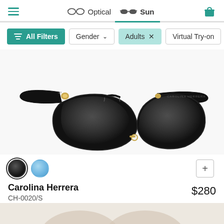Optical | Sun navigation bar with cart
All Filters | Gender | Adults × | Virtual Try-on
[Figure (photo): Black cat-eye sunglasses by Carolina Herrera with gold hardware and pearl detail, shown on white background]
Color swatches: black (selected), blue; plus button
Carolina Herrera
CH-0020/S
$280
[Figure (photo): Partial view of a second pair of glasses at the bottom of the page]